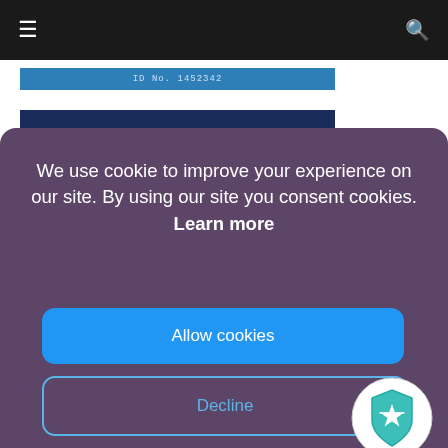≡  🔍
[Figure (screenshot): Partial ID card strip showing 'ID No. 1452342' in white text on blue background]
We use cookie to improve your experience on our site. By using our site you consent cookies. Learn more
Allow cookies
Decline
[Figure (illustration): Teal shield/badge icon with a star, overlapping the Decline button area]